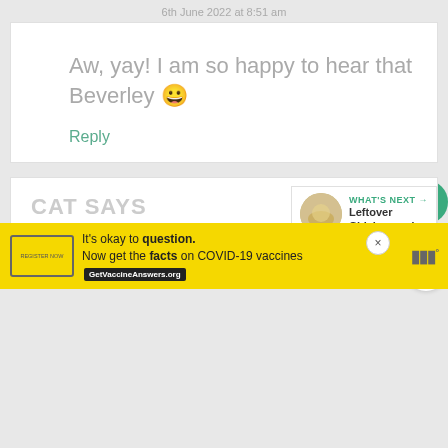6th June 2022 at 8:51 am
Aw, yay! I am so happy to hear that Beverley 😀
Reply
CAT SAYS
2nd June 2022 at 2:42 am
[Figure (other): WHAT'S NEXT arrow, Leftover Chicken and... thumbnail with bowl image]
It's okay to question. Now get the facts on COVID-19 vaccines GetVaccineAnswers.org